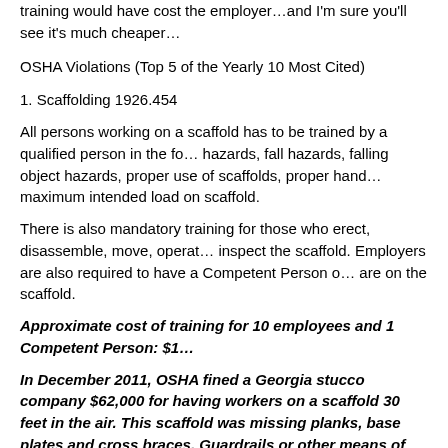training would have cost the employer…and I'm sure you'll see it's much cheaper…
OSHA Violations (Top 5 of the Yearly 10 Most Cited)
1. Scaffolding 1926.454
All persons working on a scaffold has to be trained by a qualified person in the fo… hazards, fall hazards, falling object hazards, proper use of scaffolds, proper hand… maximum intended load on scaffold.
There is also mandatory training for those who erect, disassemble, move, operat… inspect the scaffold. Employers are also required to have a Competent Person o… are on the scaffold.
Approximate cost of training for 10 employees and 1 Competent Person: $1…
In December 2011, OSHA fined a Georgia stucco company $62,000 for having workers on a scaffold 30 feet in the air. This scaffold was missing planks, base plates and cross braces. Guardrails or other means of fall protection was not provided and workers were not trained.
$1,300 training cost vs. $62,000 in OSHA fines…which would you rather?
2. Fall Protection 1926.503